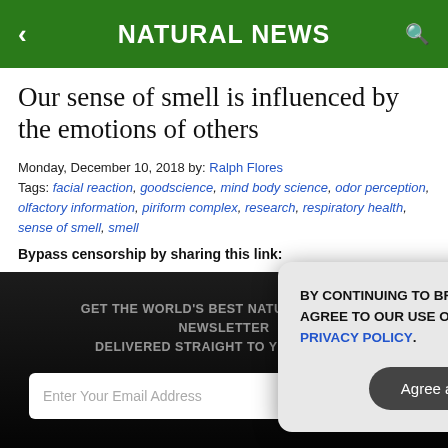NATURAL NEWS
Our sense of smell is influenced by the emotions of others
Monday, December 10, 2018 by: Ralph Flores
Tags: facial reaction, goodscience, mind body science, odor perception, olfactory information, piriform complex, research, respiratory health, sense of smell, smell
Bypass censorship by sharing this link:
GET THE WORLD'S BEST NATURAL HEALTH NEWSLETTER DELIVERED STRAIGHT TO YOUR INBOX
BY CONTINUING TO BROWSE OUR SITE YOU AGREE TO OUR USE OF COOKIES AND OUR PRIVACY POLICY.